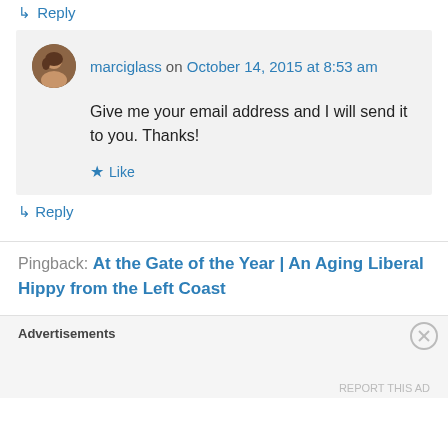↳ Reply
marciglass on October 14, 2015 at 8:53 am
Give me your email address and I will send it to you. Thanks!
★ Like
↳ Reply
Pingback: At the Gate of the Year | An Aging Liberal Hippy from the Left Coast
Advertisements
REPORT THIS AD